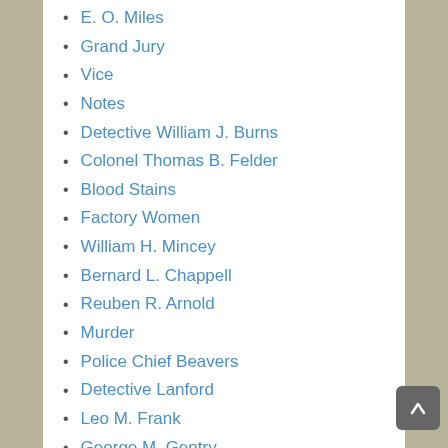E. O. Miles
Grand Jury
Vice
Notes
Detective William J. Burns
Colonel Thomas B. Felder
Blood Stains
Factory Women
William H. Mincey
Bernard L. Chappell
Reuben R. Arnold
Murder
Police Chief Beavers
Detective Lanford
Leo M. Frank
George M. Gentry
Coroner Donehoo
Nation of Islam
Trial Jury
Herbert Haas
Time Clock